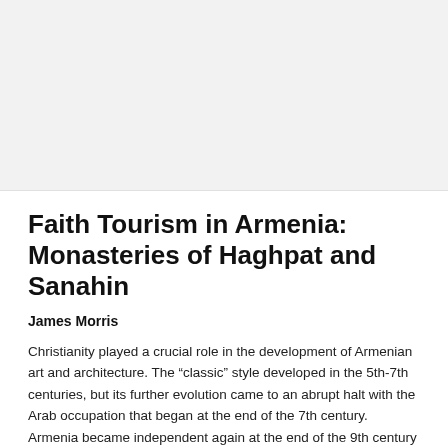[Figure (photo): Large image placeholder area at the top of the page, light gray background]
Faith Tourism in Armenia: Monasteries of Haghpat and Sanahin
James Morris
Christianity played a crucial role in the development of Armenian art and architecture. The “classic” style developed in the 5th-7th centuries, but its further evolution came to an abrupt halt with the Arab occupation that began at the end of the 7th century. Armenia became independent again at the end of the 9th century and Armenian art was revived when the kingdom was consolidated and national identity re-established. In this period two Byzantine monasteries were built – the